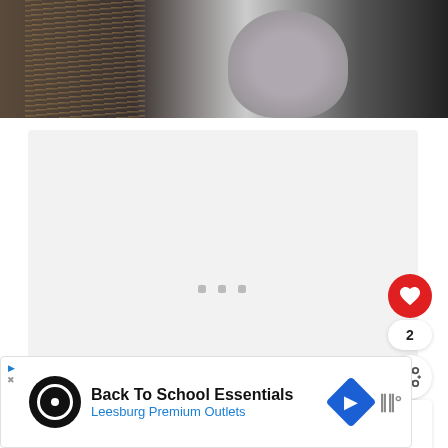[Figure (photo): Two people shown from chest up against dark background; person on left has long blonde hair and dark jacket, person on right has a graphic tattoo-style t-shirt]
[Figure (screenshot): Gray loading/placeholder content box with three small gray square dots indicating loading state]
2
[Figure (infographic): Share icon button (circle with plus)]
WHAT'S NEXT → How Long Does It Take...
Back To School Essentials
Leesburg Premium Outlets